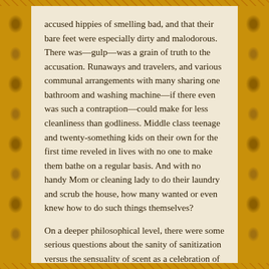accused hippies of smelling bad, and that their bare feet were especially dirty and malodorous. There was—gulp—was a grain of truth to the accusation. Runaways and travelers, and various communal arrangements with many sharing one bathroom and washing machine—if there even was such a contraption—could make for less cleanliness than godliness. Middle class teenage and twenty-something kids on their own for the first time reveled in lives with no one to make them bathe on a regular basis. And with no handy Mom or cleaning lady to do their laundry and scrub the house, how many wanted or even knew how to do such things themselves?

On a deeper philosophical level, there were some serious questions about the sanity of sanitization versus the sensuality of scent as a celebration of the human spirit. The 1950s had spawned an industry